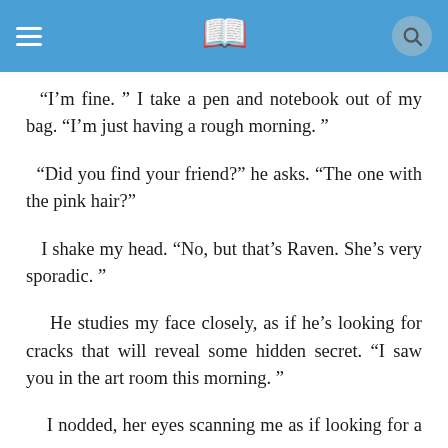≡  📖  🔍
“I’m fine.” I take a pen and notebook out of my bag. “I’m just having a rough morning.”
“Did you find your friend?” he asks. “The one with the pink hair?”
I shake my head. “No, but that’s Raven. She’s very sporadic.”
He studies my face closely, as if he’s looking for cracks that will reveal some hidden secret. “I saw you in the art room this morning.”
I nod, her eyes scanning me as if looking for a follow...